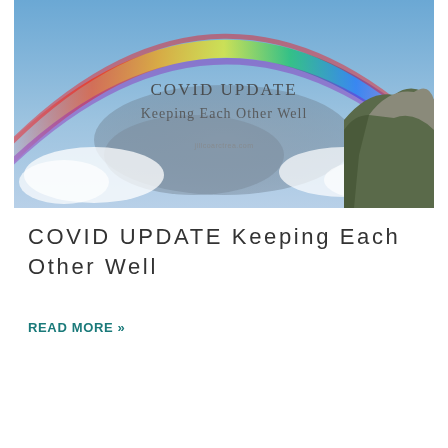[Figure (photo): A wide-angle photo of a rainbow arching over a cloudy sky with a rocky hillside on the right. Overlaid text reads 'COVID UPDATE Keeping Each Other Well' with a website URL below.]
COVID UPDATE Keeping Each Other Well
READ MORE »